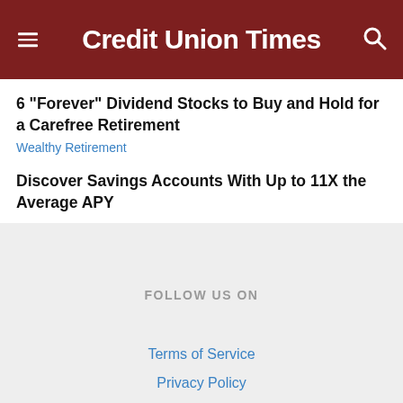Credit Union Times
6 "Forever" Dividend Stocks to Buy and Hold for a Carefree Retirement
Wealthy Retirement
Discover Savings Accounts With Up to 11X the Average APY
FOLLOW US ON
Terms of Service
Privacy Policy
Copyright © 2022 ALM Global, LLC. All Rights Reserved.